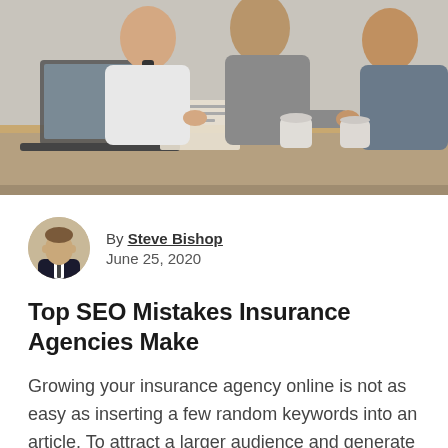[Figure (photo): Office meeting scene: three business professionals gathered around a table with a laptop, papers, and coffee mugs, collaborating]
By Steve Bishop
June 25, 2020
Top SEO Mistakes Insurance Agencies Make
Growing your insurance agency online is not as easy as inserting a few random keywords into an article. To attract a larger audience and generate leads, you need to use search engine optimization